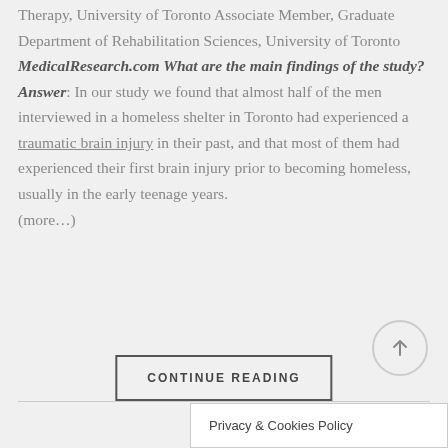Therapy, University of Toronto Associate Member, Graduate Department of Rehabilitation Sciences, University of Toronto MedicalResearch.com What are the main findings of the study? Answer: In our study we found that almost half of the men interviewed in a homeless shelter in Toronto had experienced a traumatic brain injury in their past, and that most of them had experienced their first brain injury prior to becoming homeless, usually in the early teenage years. (more…)
CONTINUE READING
Privacy & Cookies Policy